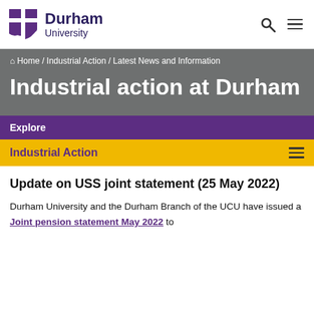Durham University — Home / Industrial Action / Latest News and Information
Industrial action at Durham
Explore
Industrial Action
Update on USS joint statement (25 May 2022)
Durham University and the Durham Branch of the UCU have issued a Joint pension statement May 2022 to